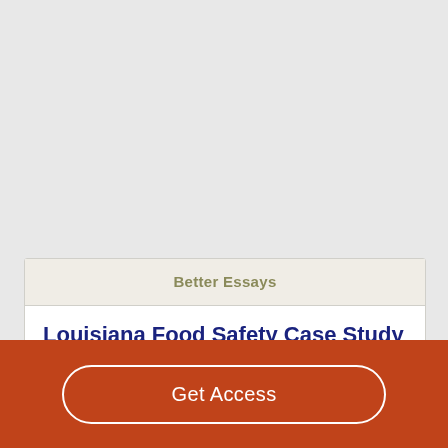Better Essays
Louisiana Food Safety Case Study
1650 Words
Get Access